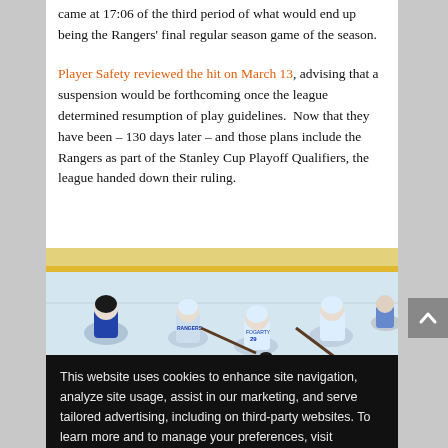came at 17:06 of the third period of what would end up being the Rangers' final regular season game of the season.
Player Safety reviewed the hit on March 13, advising that a suspension would be forthcoming once the league determined resumption of play guidelines.  Now that they have been – 130 days later – and those plans include the Rangers as part of the Stanley Cup Playoff Qualifiers, the league handed down their ruling.
[Figure (photo): Hockey players in white New York Rangers uniforms on ice rink, including player #29 (Fogarty), during a game.]
This website uses cookies to enhance site navigation, analyze site usage, assist in our marketing, and serve tailored advertising, including on third-party websites. To learn more and to manage your preferences, visit